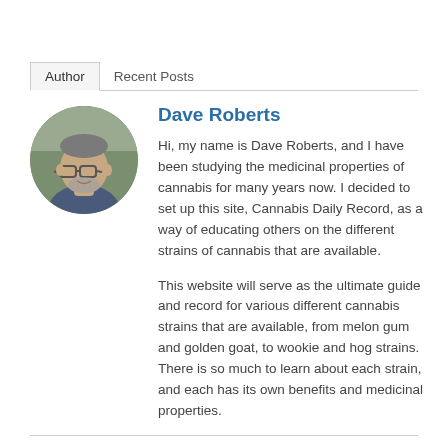Author   Recent Posts
Dave Roberts
[Figure (photo): Circular profile photo of Dave Roberts, a middle-aged man with glasses and a beard, outdoors with blurred green background]
Hi, my name is Dave Roberts, and I have been studying the medicinal properties of cannabis for many years now. I decided to set up this site, Cannabis Daily Record, as a way of educating others on the different strains of cannabis that are available.
This website will serve as the ultimate guide and record for various different cannabis strains that are available, from melon gum and golden goat, to wookie and hog strains. There is so much to learn about each strain, and each has its own benefits and medicinal properties.